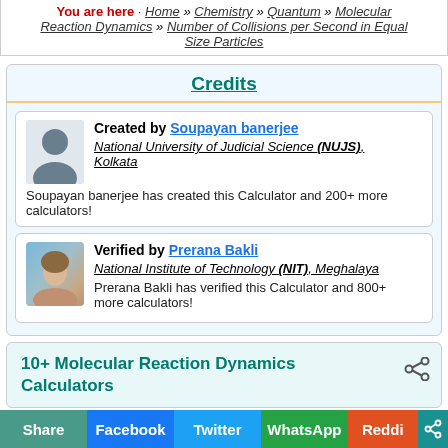You are here · Home » Chemistry » Quantum » Molecular Reaction Dynamics » Number of Collisions per Second in Equal Size Particles
Credits
Created by Soupayan banerjee
National University of Judicial Science (NUJS), Kolkata
Soupayan banerjee has created this Calculator and 200+ more calculators!
Verified by Prerana Bakli
National Institute of Technology (NIT), Meghalaya
Prerana Bakli has verified this Calculator and 800+ more calculators!
10+ Molecular Reaction Dynamics Calculators
Share | Facebook | Twitter | WhatsApp | Reddit